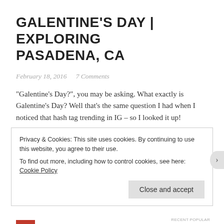GALENTINE'S DAY | EXPLORING PASADENA, CA
February 18, 2016   7 Comments
“Galentine’s Day?”, you may be asking.  What exactly is Galentine’s Day?  Well that’s the same question I had when I noticed that hash tag trending in IG – so I looked it up!
Season 2 of Parks and Recs can be credited for starting the trend.  Galentine’s Day is celebrated on February 13th, the day before Valentine’s.  According to Wikia, Galentine’s Day
Privacy & Cookies: This site uses cookies. By continuing to use this website, you agree to their use.
To find out more, including how to control cookies, see here: Cookie Policy
Close and accept